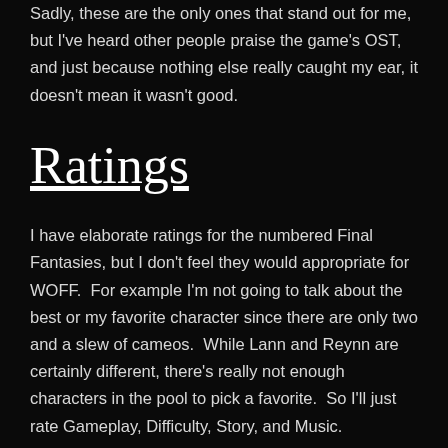Sadly, these are the only ones that stand out for me, but I've heard other people praise the game's OST, and just because nothing else really caught my ear, it doesn't mean it wasn't good.
Ratings
I have elaborate ratings for the numbered Final Fantasies, but I don't feel they would appropriate for WOFF.  For example I'm not going to talk about the best or my favorite character since there are only two and a slew of cameos.  While Lann and Reynn are certainly different, there's really not enough characters in the pool to pick a favorite.  So I'll just rate Gameplay, Difficulty, Story, and Music.